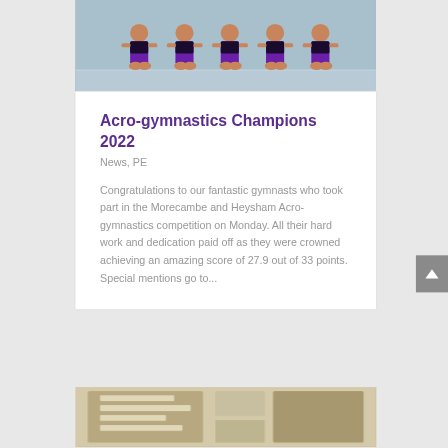[Figure (photo): Group of young gymnasts in purple and black leotards kneeling on a gym floor]
Acro-gymnastics Champions 2022
News, PE
Congratulations to our fantastic gymnasts who took part in the Morecambe and Heysham Acro-gymnastics competition on Monday. All their hard work and dedication paid off as they were crowned achieving an amazing score of 27.9 out of 33 points. Special mentions go to...
[Figure (photo): Partial view of a room interior, possibly a classroom or office]